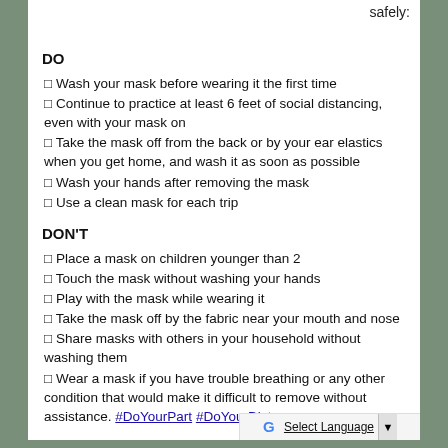safely:
DO
Wash your mask before wearing it the first time
Continue to practice at least 6 feet of social distancing, even with your mask on
Take the mask off from the back or by your ear elastics when you get home, and wash it as soon as possible
Wash your hands after removing the mask
Use a clean mask for each trip
DON'T
Place a mask on children younger than 2
Touch the mask without washing your hands
Play with the mask while wearing it
Take the mask off by the fabric near your mouth and nose
Share masks with others in your household without washing them
Wear a mask if you have trouble breathing or any other condition that would make it difficult to remove without assistance. #DoYourPart #DoYourDistance